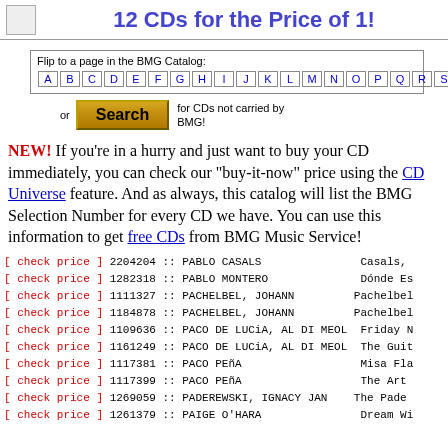12 CDs for the Price of 1!
Flip to a page in the BMG Catalog: A B C D E F G H I J K L M N O P Q R S T U V W X Y Z #
or Search for CDs not carried by BMG!
NEW! If you're in a hurry and just want to buy your CD immediately, you can check our "buy-it-now" price using the CD Universe feature. And as always, this catalog will list the BMG Selection Number for every CD we have. You can use this information to get free CDs from BMG Music Service!
[ check price ] 2204204 :: PABLO CASALS :: Casals,
[ check price ] 1282318 :: PABLO MONTERO :: Dónde Es
[ check price ] 1111327 :: PACHELBEL, JOHANN :: Pachelbel
[ check price ] 1184878 :: PACHELBEL, JOHANN :: Pachelbel
[ check price ] 1109636 :: PACO DE LUCiA, AL DI MEOL :: Friday N
[ check price ] 1161249 :: PACO DE LUCiA, AL DI MEOL :: The Guit
[ check price ] 1117381 :: PACO PEñA :: Misa Fla
[ check price ] 1117399 :: PACO PEñA :: The Art
[ check price ] 1269059 :: PADEREWSKI, IGNACY JAN :: The Pade
[ check price ] 1261379 :: PAIGE O'HARA :: Dream Wi